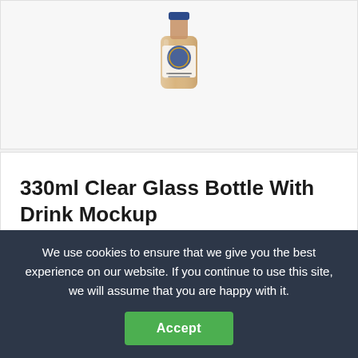[Figure (photo): Partial view of a 330ml clear glass bottle with drink, showing the top portion of the bottle with a label on a light grey card background.]
330ml Clear Glass Bottle With Drink Mockup
330ml clear glass bottle with drink mockup to showcase your packaging design in a photorealistic look. Includes special layers and smart objects for your amazing artworks. The liquid's color is...
We use cookies to ensure that we give you the best experience on our website. If you continue to use this site, we will assume that you are happy with it.